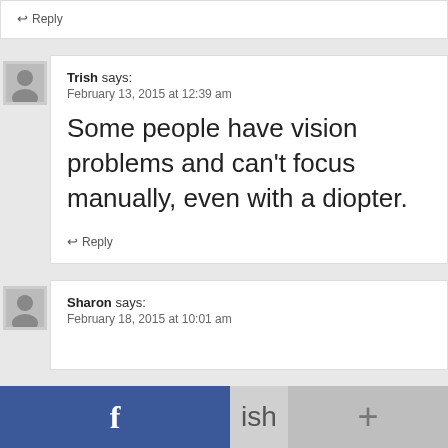↩ Reply
Trish says:
February 13, 2015 at 12:39 am
Some people have vision problems and can't focus manually, even with a diopter.
↩ Reply
Sharon says:
February 18, 2015 at 10:01 am
[Figure (screenshot): Facebook share bar at bottom of page with blue Facebook section with 'f' icon, gray section with 'ish' text, and gray section with '+' symbol]